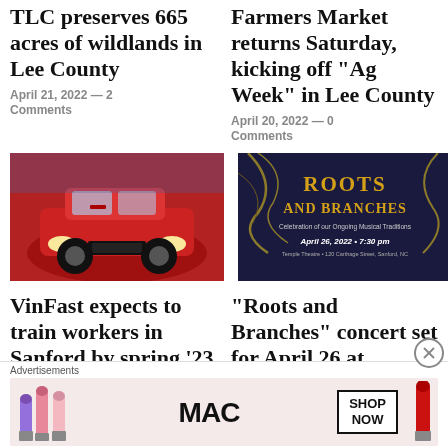TLC preserves 665 acres of wildlands in Lee County
April 21, 2022 — 2 Comments
Farmers Market returns Saturday, kicking off “Ag Week” in Lee County
April 20, 2022 — 0 Comments
[Figure (photo): Red SUV car at an auto show]
[Figure (illustration): Roots and Branches event poster on dark blue background with golden text. Celebration of our Ongoing Musical Traditions. April 26, 2022 • 7:30 pm. Temple Theatre • 120 Carthage Street, Sanford, NC]
VinFast expects to train workers in Sanford by spring ’23
April 19, 2022 — 5
“Roots and Branches” concert set for April 26 at Temple Theatre
April 19, 2022 — 0
Advertisements
[Figure (illustration): MAC cosmetics advertisement showing lipsticks and SHOP NOW button]